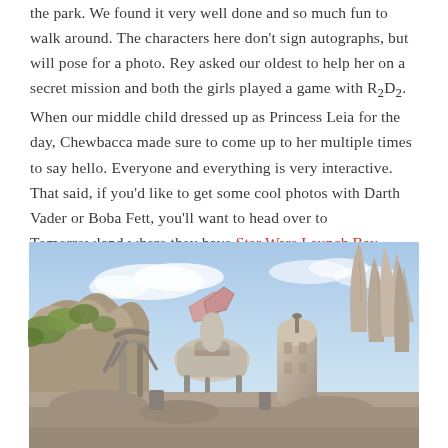the park. We found it very well done and so much fun to walk around. The characters here don't sign autographs, but will pose for a photo. Rey asked our oldest to help her on a secret mission and both the girls played a game with R2D2. When our middle child dressed up as Princess Leia for the day, Chewbacca made sure to come up to her multiple times to say hello. Everyone and everything is very interactive. That said, if you'd like to get some cool photos with Darth Vader or Boba Fett, you'll want to head over to Tomorrowland where they have Star Wars Launch Bay.
[Figure (photo): Outdoor photo of Star Wars: Galaxy's Edge theme park area showing alien-looking stone structures, spacecraft parts, and desert-themed sci-fi architecture under a partly cloudy blue sky with vegetation in the foreground.]